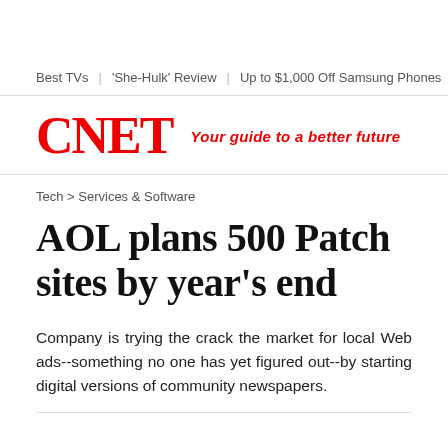Best TVs | 'She-Hulk' Review | Up to $1,000 Off Samsung Phones | B
[Figure (logo): CNET logo in red with tagline 'Your guide to a better future']
Tech > Services & Software
AOL plans 500 Patch sites by year's end
Company is trying the crack the market for local Web ads--something no one has yet figured out--by starting digital versions of community newspapers.